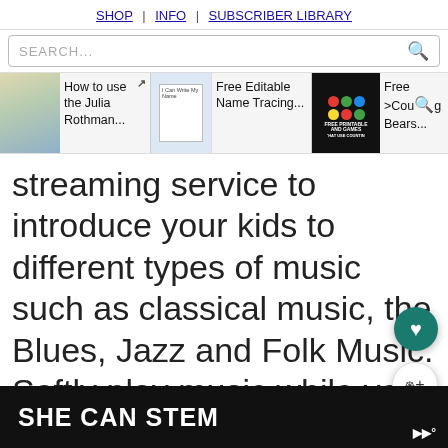SHOP | INFO | SUBSCRIBER LIBRARY
SEARCH...
[Figure (screenshot): Thumbnail strip showing three article previews: 'How to use the Julia Rothman...', 'Free Editable Name Tracing...', and 'Free [Counting] Bears...']
streaming service to introduce your kids to different types of music such as classical music, the Blues, Jazz and Folk Music. Softly play music while you are homeschooling, to help your children relax, or during
[Figure (other): Dark teal circular button with heart icon]
[Figure (other): White circular button with share icon]
[Figure (other): SHE CAN STEM black advertisement banner at bottom with logo]